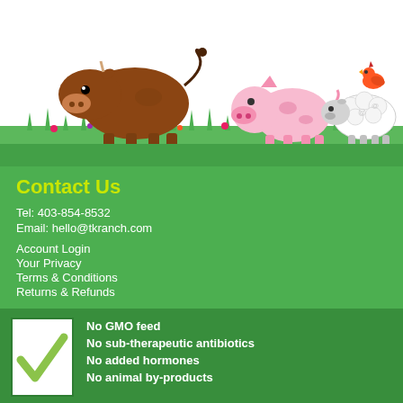[Figure (illustration): Cartoon farm animals illustration: a brown cow on the left, a pink pig and a sheep with a chicken on top on the right, all standing on green grass with colorful flowers against a white sky background.]
Contact Us
Tel: 403-854-8532
Email: hello@tkranch.com
Account Login
Your Privacy
Terms & Conditions
Returns & Refunds
[Figure (illustration): A large green checkmark on a white square background, set against a dark green section.]
No GMO feed
No sub-therapeutic antibiotics
No added hormones
No animal by-products